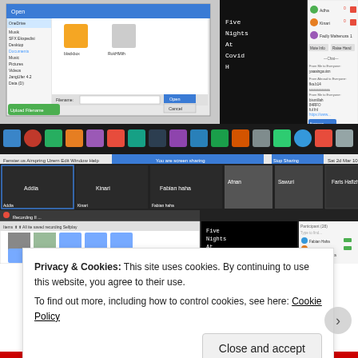[Figure (screenshot): Top screenshot showing a Windows file dialog open over a Zoom meeting interface with a dark screen showing 'Five Nights At Covid H' text, and a participant panel on the right with names Adha, Kinari, Fadly Mahenora]
[Figure (screenshot): Second screenshot showing a macOS Zoom meeting with participants Addia, Kinari, Fabian Haha, and Faris Hafizhan in gallery view, a file browser window, a screen share showing 'Five Nights At Covid H', and participants list on right]
Privacy & Cookies: This site uses cookies. By continuing to use this website, you agree to their use.
To find out more, including how to control cookies, see here: Cookie Policy
Close and accept